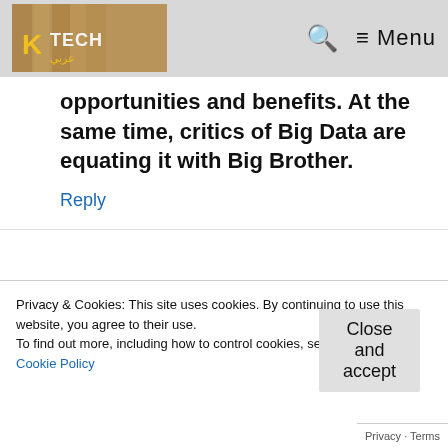Tech [logo] | Q Menu
opportunities and benefits. At the same time, critics of Big Data are equating it with Big Brother.
Reply
Robin Raj
significant it is for any company
Privacy & Cookies: This site uses cookies. By continuing to use this website, you agree to their use.
To find out more, including how to control cookies, see here:
Cookie Policy
Close and accept
Privacy · Terms